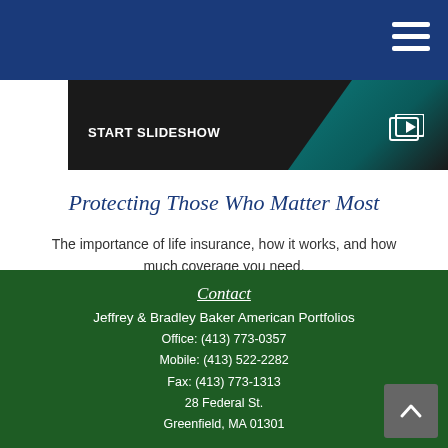[Figure (screenshot): Dark slideshow banner with 'START SLIDESHOW' text and a play/slideshow icon on the right, with teal gradient background on right side]
Protecting Those Who Matter Most
The importance of life insurance, how it works, and how much coverage you need.
Contact
Jeffrey & Bradley Baker American Portfolios
Office: (413) 773-0357
Mobile: (413) 522-2282
Fax: (413) 773-1313
28 Federal St.
Greenfield, MA 01301